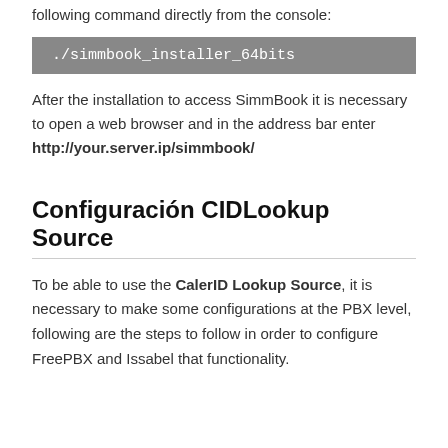Now you can start the installation by executing the following command directly from the console:
./simmbook_installer_64bits
After the installation to access SimmBook it is necessary to open a web browser and in the address bar enter http://your.server.ip/simmbook/
Configuración CIDLookup Source
To be able to use the CalerID Lookup Source, it is necessary to make some configurations at the PBX level, following are the steps to follow in order to configure FreePBX and Issabel that functionality.